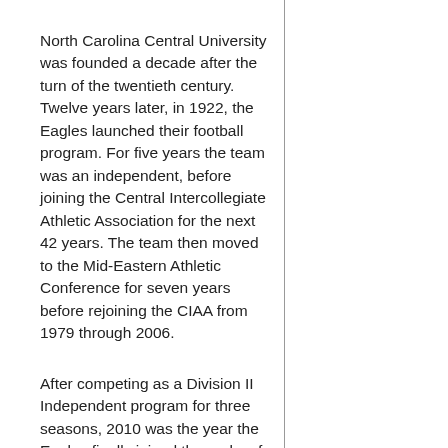North Carolina Central University was founded a decade after the turn of the twentieth century. Twelve years later, in 1922, the Eagles launched their football program. For five years the team was an independent, before joining the Central Intercollegiate Athletic Association for the next 42 years. The team then moved to the Mid-Eastern Athletic Conference for seven years before rejoining the CIAA from 1979 through 2006.
After competing as a Division II Independent program for three seasons, 2010 was the year the Eagles finally joined the ranks of NCAA Division 1